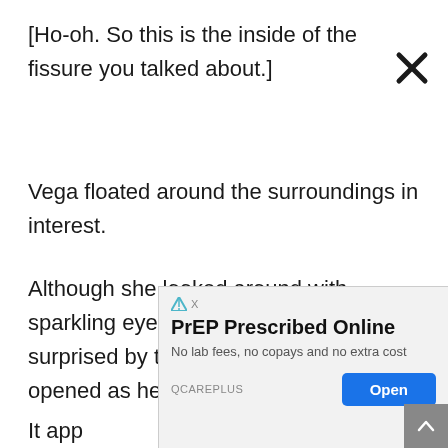[Ho-oh. So this is the inside of the fissure you talked about.]
Vega floated around the surroundings in interest.
Although she looked around with sparkling eyes, she didn't seem all that surprised by the fact that a gate really opened as he had said.
'Does ti... ...uch?'
It app... ...ing on th... ...rds
[Figure (screenshot): Advertisement overlay: 'PrEP Prescribed Online — No lab fees, no copays and no extra cost — QCAREPLUS — Open button'. Close X button at top right of ad. Scroll-to-top button at bottom right corner.]